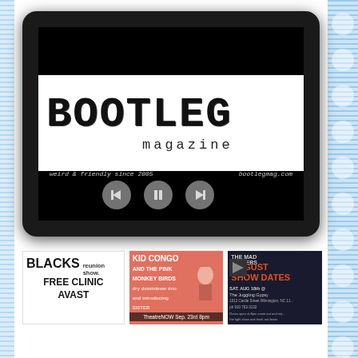[Figure (screenshot): Tablet device displaying Bootleg Magazine logo/header with media player controls. Logo shows 'BOOTLEG' in large distressed typewriter font, 'magazine' in smaller spaced letters, tagline 'weird & friendly since 2005' and 'bootlegmag.com'. Three circular media control buttons (back, pause, forward) visible below.]
[Figure (photo): Small thumbnail poster: 'BLACKS reunion show. FREE CLINIC AVAST' in bold black text on white background, plus partial image below.]
[Figure (photo): Kid Congo and the Pink Monkey Birds concert poster in red/pink tones, showing 'KID CONGO AND THE PINK MONKEY BIRDS' with theatrical art and 'TheatreNOW Sep. 23rd 8pm' at bottom.]
[Figure (photo): Mad Hatters August Show Dates poster in dark blue with orange/red text. 'SAT. AUG 18th @ The Juggling Gyps' and 'SAT. AUG 25th @' visible.]